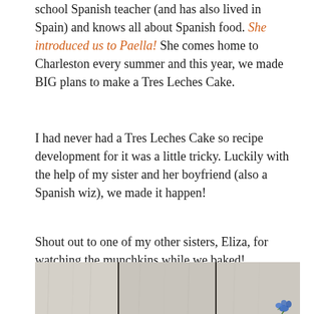school Spanish teacher (and has also lived in Spain) and knows all about Spanish food. She introduced us to Paella! She comes home to Charleston every summer and this year, we made BIG plans to make a Tres Leches Cake.
I had never had a Tres Leches Cake so recipe development for it was a little tricky. Luckily with the help of my sister and her boyfriend (also a Spanish wiz), we made it happen!
Shout out to one of my other sisters, Eliza, for watching the munchkins while we baked!
[Figure (photo): Photo of a wooden plank surface (whitewashed/grey wood boards with dark gaps between planks), with a small blue flower arrangement visible at the bottom right]